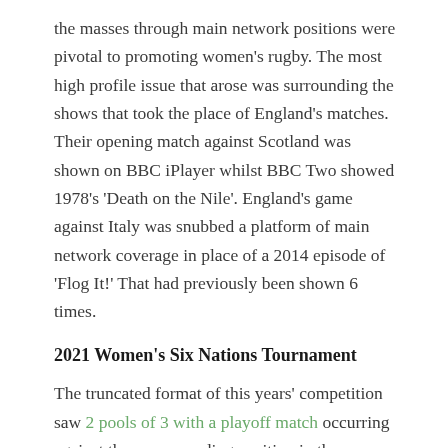the masses through main network positions were pivotal to promoting women's rugby. The most high profile issue that arose was surrounding the shows that took the place of England's matches. Their opening match against Scotland was shown on BBC iPlayer whilst BBC Two showed 1978's 'Death on the Nile'. England's game against Italy was snubbed a platform of main network coverage in place of a 2014 episode of 'Flog It!' That had previously been shown 6 times.
2021 Women's Six Nations Tournament
The truncated format of this years' competition saw 2 pools of 3 with a playoff match occurring against the corresponding position in the opposing group. Whilst 8 of the 10 games not involving Italy were settled by 1 score or less in the men's competition, the opening rounds of the Women's Six Nations painted a different picture. Winning margins of 42 and 64 points against Scotland and Italy respectively left England to face